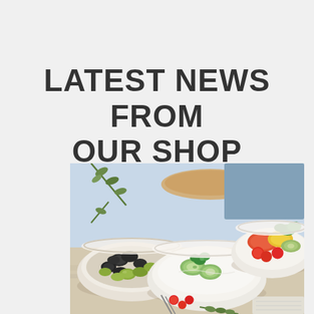LATEST NEWS FROM OUR SHOP
[Figure (photo): A spread of Mediterranean food including bowls of mixed olives (black and green), tzatziki dip garnished with cucumber slices and fresh herbs, and a plate of mixed salad with cherry tomatoes, peppers, and grilled vegetables. Bread and olive branches are visible in the background.]